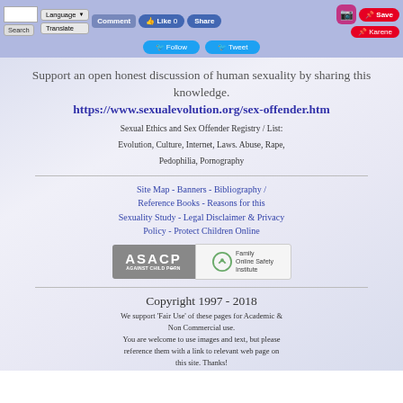Search Language Translate Comment Like 0 Share Follow Tweet Save Karene
Support an open honest discussion of human sexuality by sharing this knowledge.
https://www.sexualevolution.org/sex-offender.htm
Sexual Ethics and Sex Offender Registry / List: Evolution, Culture, Internet, Laws. Abuse, Rape, Pedophilia, Pornography
Site Map - Banners - Bibliography / Reference Books - Reasons for this Sexuality Study - Legal Disclaimer & Privacy Policy - Protect Children Online
[Figure (logo): ASACP Against Child Porn logo and Family Online Safety Institute logo side by side]
Copyright 1997 - 2018
We support 'Fair Use' of these pages for Academic & Non Commercial use.
You are welcome to use images and text, but please reference them with a link to relevant web page on this site. Thanks!